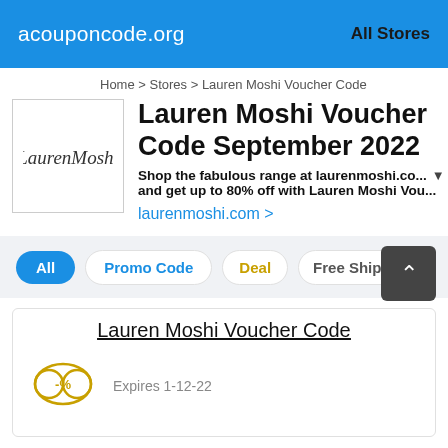acouponcode.org — All Stores
Home > Stores > Lauren Moshi Voucher Code
Lauren Moshi Voucher Code September 2022
Shop the fabulous range at laurenmoshi.co... and get up to 80% off with Lauren Moshi Vou...
laurenmoshi.com >
All  Promo Code  Deal  Free Shipping
Lauren Moshi Voucher Code
Expires 1-12-22